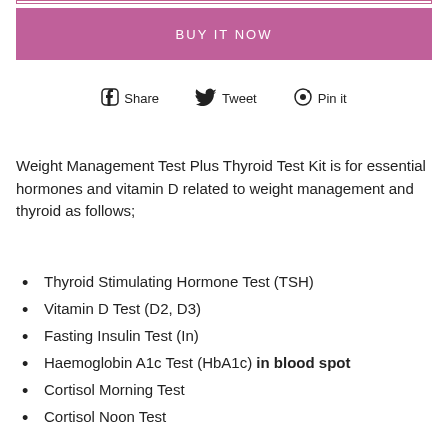BUY IT NOW
Share  Tweet  Pin it
Weight Management Test Plus Thyroid Test Kit is for essential hormones and vitamin D related to weight management and thyroid as follows;
Thyroid Stimulating Hormone Test (TSH)
Vitamin D Test (D2, D3)
Fasting Insulin Test (In)
Haemoglobin A1c Test (HbA1c) in blood spot
Cortisol Morning Test
Cortisol Noon Test